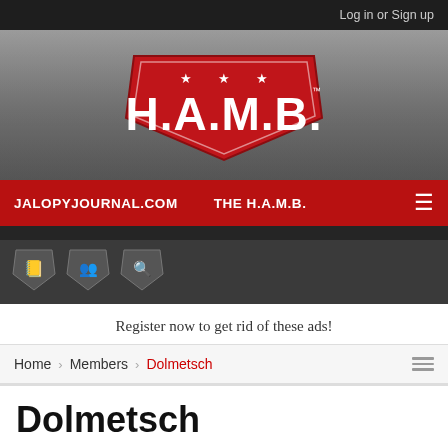Log in or Sign up
[Figure (logo): H.A.M.B. logo — red shield shape with three stars and bold white letters H.A.M.B. with TM mark]
JALOPYJOURNAL.COM   THE H.A.M.B.
Register now to get rid of these ads!
Home   Members   Dolmetsch
Dolmetsch